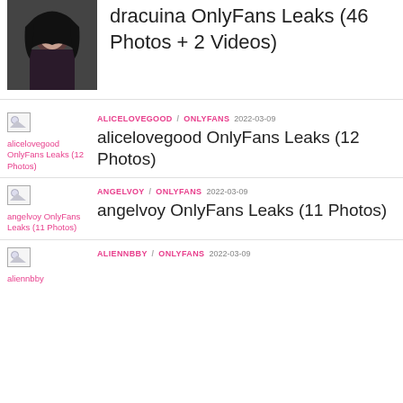[Figure (photo): Thumbnail photo of dracuina, dark-haired person in costume]
dracuina OnlyFans Leaks (46 Photos + 2 Videos)
ALICELOVEGOOD / ONLYFANS 2022-03-09
[Figure (photo): Broken image thumbnail for alicelovegood OnlyFans Leaks (12 Photos)]
alicelovegood OnlyFans Leaks (12 Photos)
ANGELVOY / ONLYFANS 2022-03-09
[Figure (photo): Broken image thumbnail for angelvoy OnlyFans Leaks (11 Photos)]
angelvoy OnlyFans Leaks (11 Photos)
ALIENNBBY / ONLYFANS 2022-03-09
[Figure (photo): Broken image thumbnail for aliennbby]